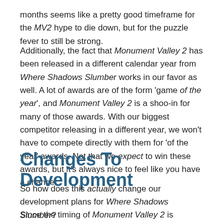months seems like a pretty good timeframe for the MV2 hype to die down, but for the puzzle fever to still be strong.
Additionally, the fact that Monument Valley 2 has been released in a different calendar year from Where Shadows Slumber works in our favor as well. A lot of awards are of the form 'game of the year', and Monument Valley 2 is a shoo-in for many of those awards. With our biggest competitor releasing in a different year, we won't have to compete directly with them for 'of the year' awards. Not that we expect to win these awards, but it's always nice to feel like you have a chance.
Changes To Development
So how does this actually change our development plans for Where Shadows Slumber?
Since the timing of Monument Valley 2 is working in our favor, we've decided that we're going to stay the course. We're still aiming for an